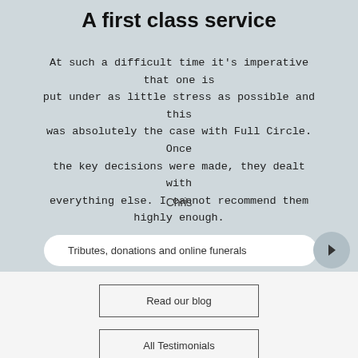A first class service
At such a difficult time it's imperative that one is put under as little stress as possible and this was absolutely the case with Full Circle. Once the key decisions were made, they dealt with everything else. I cannot recommend them highly enough.
Chris
Tributes, donations and online funerals
Read our blog
All Testimonials